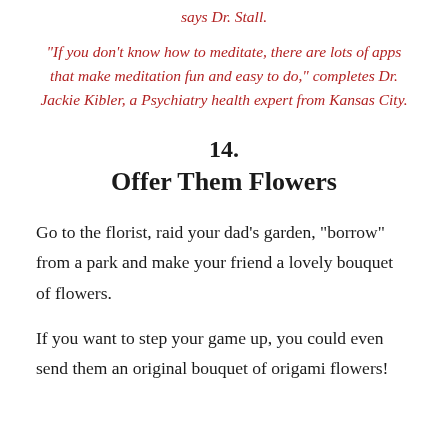says Dr. Stall.
“If you don’t know how to meditate, there are lots of apps that make meditation fun and easy to do,” completes Dr. Jackie Kibler, a Psychiatry health expert from Kansas City.
14.
Offer Them Flowers
Go to the florist, raid your dad’s garden, “borrow” from a park and make your friend a lovely bouquet of flowers.
If you want to step your game up, you could even send them an original bouquet of origami flowers!